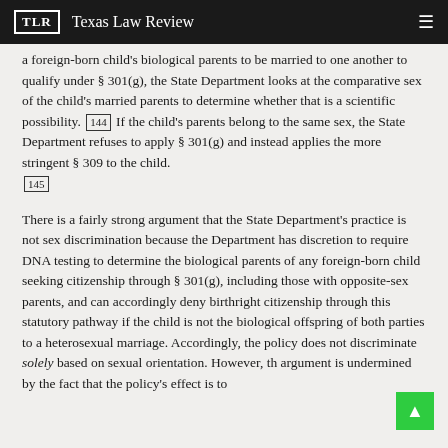TLR Texas Law Review
a foreign-born child's biological parents to be married to one another to qualify under § 301(g), the State Department looks at the comparative sex of the child's married parents to determine whether that is a scientific possibility. [144] If the child's parents belong to the same sex, the State Department refuses to apply § 301(g) and instead applies the more stringent § 309 to the child. [145]
There is a fairly strong argument that the State Department's practice is not sex discrimination because the Department has discretion to require DNA testing to determine the biological parents of any foreign-born child seeking citizenship through § 301(g), including those with opposite-sex parents, and can accordingly deny birthright citizenship through this statutory pathway if the child is not the biological offspring of both parties to a heterosexual marriage. Accordingly, the policy does not discriminate solely based on sexual orientation. However, the argument is undermined by the fact that the policy's effect is to broadly...